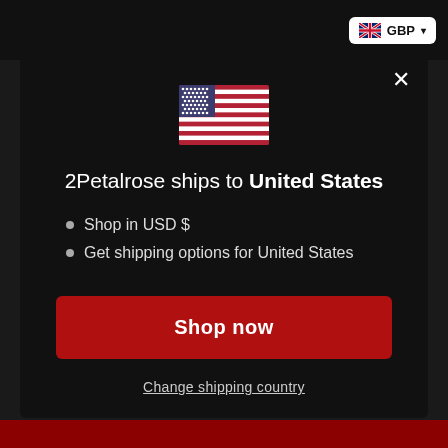[Figure (screenshot): US flag emoji displayed at top center of modal]
2Petalrose ships to United States
Shop in USD $
Get shipping options for United States
Shop now
Change shipping country